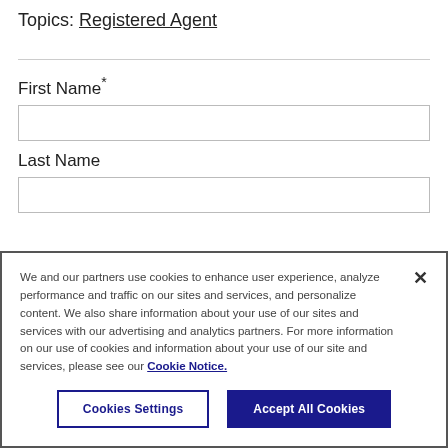Topics: Registered Agent
First Name*
Last Name
We and our partners use cookies to enhance user experience, analyze performance and traffic on our sites and services, and personalize content. We also share information about your use of our sites and services with our advertising and analytics partners. For more information on our use of cookies and information about your use of our site and services, please see our Cookie Notice.
Cookies Settings
Accept All Cookies